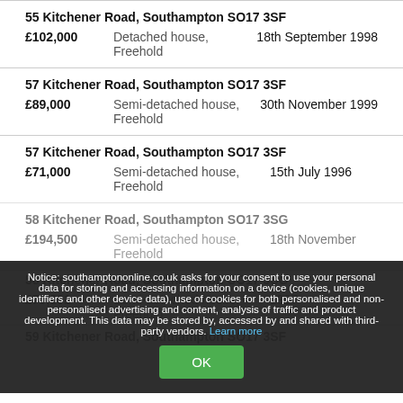55 Kitchener Road, Southampton SO17 3SF
£102,000    Detached house, Freehold    18th September 1998
57 Kitchener Road, Southampton SO17 3SF
£89,000    Semi-detached house, Freehold    30th November 1999
57 Kitchener Road, Southampton SO17 3SF
£71,000    Semi-detached house, Freehold    15th July 1996
58 Kitchener Road, Southampton SO17 3SG
£194,500    Semi-detached house, Freehold    18th November
58 Kitchener Road, Southampton SO17 3SG
£70,801    Semi-detached house, Freehold    1997
59 Kitchener Road, Southampton SO17 3SF
Notice: southamptononline.co.uk asks for your consent to use your personal data for storing and accessing information on a device (cookies, unique identifiers and other device data), use of cookies for both personalised and non-personalised advertising and content, analysis of traffic and product development. This data may be stored by, accessed by and shared with third-party vendors. Learn more